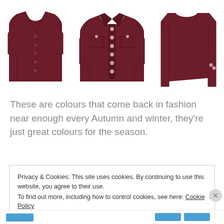[Figure (photo): Three dark burgundy/maroon clothing items displayed against white background: a button-front cardigan on the left, a denim-style button-front jacket in the center, and a long-sleeve ruched top on the right.]
These are colours that come back in fashion near enough every Autumn and winter, they're just great colours for the season.
Privacy & Cookies: This site uses cookies. By continuing to use this website, you agree to their use.
To find out more, including how to control cookies, see here: Cookie Policy